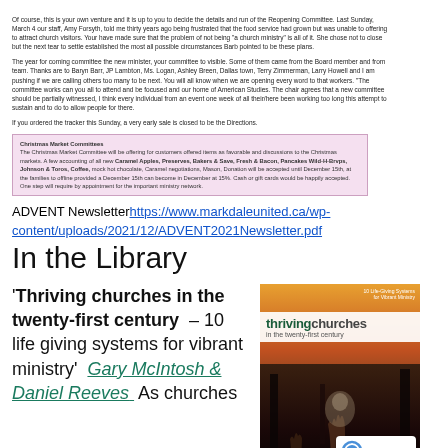Small paragraph text about the church newsletter and activities (top section, blurred/small).
[Figure (other): Pink-bordered box containing text about Christmas Market Committees and vendors including Caramel Apples, Preserves, Wild H-Brvps, Johnson & Toros, Coffee, mock hot chocolate, Caramel negotiations, Mason Donation until December 15th.]
ADVENT Newsletter https://www.markdaleunited.ca/wp-content/uploads/2021/12/ADVENT2021Newsletter.pdf
In the Library
'Thriving churches in the twenty-first century – 10 life giving systems for vibrant ministry'  Gary McIntosh & Daniel Reeves  As churches
[Figure (photo): Book cover of 'Thriving Churches in the Twenty-First Century' by Gary McIntosh & Daniel Reeves, showing a dark atmospheric forest/nature scene with hands reaching up, orange/red gradient top, and white title box inset. A reCAPTCHA badge is overlaid at bottom right.]